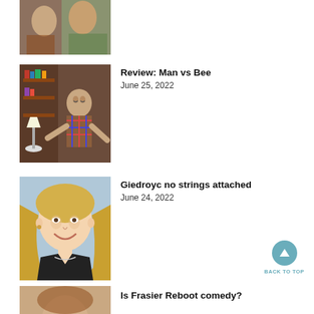[Figure (photo): Partially visible image at top, cropped, showing two people in colorful costumes]
[Figure (photo): Photo of a man in a plaid shirt with arms outstretched, standing in a living room with bookshelves]
Review: Man vs Bee
June 25, 2022
[Figure (photo): Photo of a smiling blonde woman in a black jacket]
Giedroyc no strings attached
June 24, 2022
[Figure (photo): Partially visible image at bottom, cropped]
Is Frasier Reboot comedy?